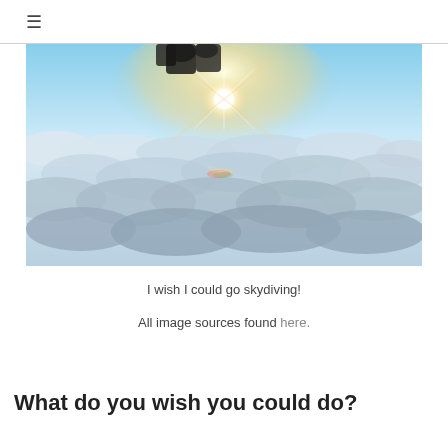≡
[Figure (photo): Aerial skydiving photo taken from above the clouds, with a person's legs/feet visible at the top and a bright sun with lens flare in the upper center, looking down over a thick cloud layer below.]
I wish I could go skydiving!
All image sources found here.
What do you wish you could do?